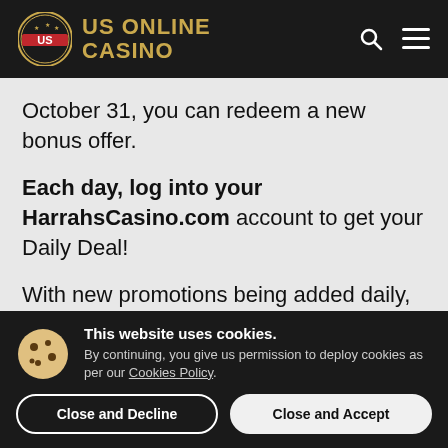[Figure (logo): US Online Casino logo with circular badge and gold text on dark header bar with search and menu icons]
October 31, you can redeem a new bonus offer.
Each day, log into your HarrahsCasino.com account to get your Daily Deal!
With new promotions being added daily, now is the ideal moment to join the action at
This website uses cookies. By continuing, you give us permission to deploy cookies as per our Cookies Policy.
Close and Decline
Close and Accept